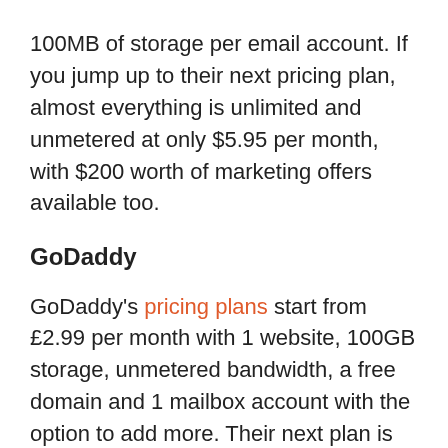100MB of storage per email account. If you jump up to their next pricing plan, almost everything is unlimited and unmetered at only $5.95 per month, with $200 worth of marketing offers available too.
GoDaddy
GoDaddy's pricing plans start from £2.99 per month with 1 website, 100GB storage, unmetered bandwidth, a free domain and 1 mailbox account with the option to add more. Their next plan is £4.49 and comes with mostly unlimited options, similar to BlueHost.
Both web hosts provide very similar features within their plans compared to each other, at roughly the same cost; this is quite common within the shared